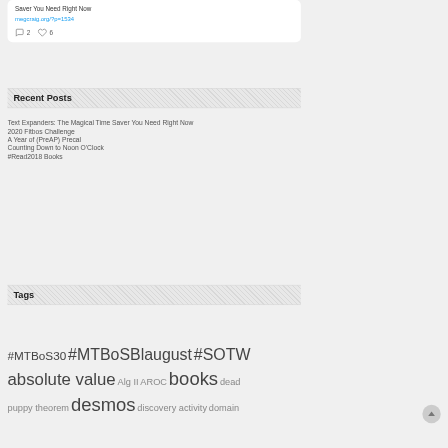Saver You Need Right Now
megcraig.org/?p=1534
2  6
Recent Posts
Text Expanders: The Magical Time Saver You Need Right Now
2020 Fitbos Challenge
A Year of (PreAP) Precal
Counting Down to Noon O'Clock
#Read2018 Books
Tags
#MTBoS30 #MTBoSBlaugust #SOTW absolute value Alg II AROC books dead puppy theorem desmos discovery activity domain